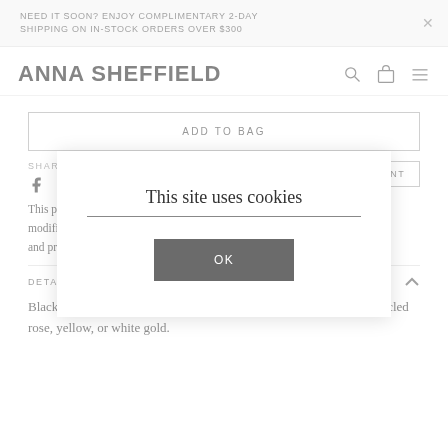NEED IT SOON? ENJOY COMPLIMENTARY 2-DAY SHIPPING ON IN-STOCK ORDERS OVER $300
ANNA SHEFFIELD
ADD TO BAG
SHARE
A HINT
This piece [partially obscured by cookie modal] requested modifications [partially obscured] timelines and pricing [partially obscured] ion.
DETAILS
Blackened rutilated quartz with champagne diamonds set in 14k recycled rose, yellow, or white gold.
This site uses cookies
OK